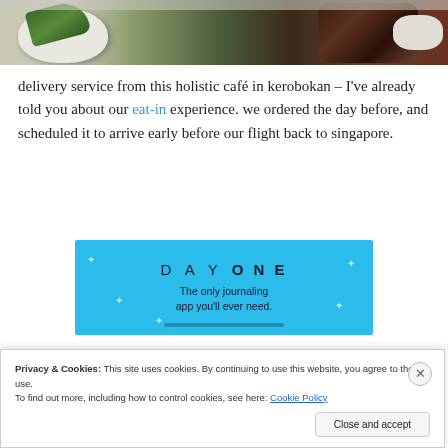[Figure (photo): Top portion of a food photo showing dishes with green leaves/pandan, dark-colored food items, and white plates on a table]
delivery service from this holistic café in kerobokan – I've already told you about our eat-in experience. we ordered the day before, and scheduled it to arrive early before our flight back to singapore.
[Figure (screenshot): DAY ONE app advertisement on a light blue background. Text reads: DAY ONE – The only journaling app you'll ever need.]
Privacy & Cookies: This site uses cookies. By continuing to use this website, you agree to their use.
To find out more, including how to control cookies, see here: Cookie Policy
Close and accept